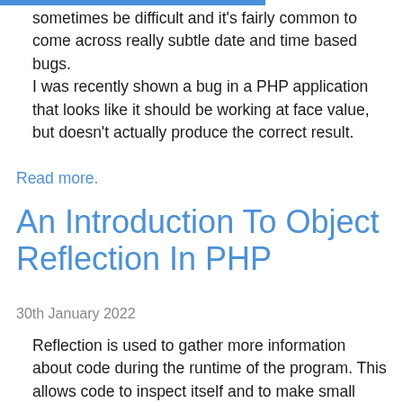sometimes be difficult and it's fairly common to come across really subtle date and time based bugs. I was recently shown a bug in a PHP application that looks like it should be working at face value, but doesn't actually produce the correct result.
Read more.
An Introduction To Object Reflection In PHP
30th January 2022
Reflection is used to gather more information about code during the runtime of the program. This allows code to inspect itself and to make small modifications, which is useful in a variety of